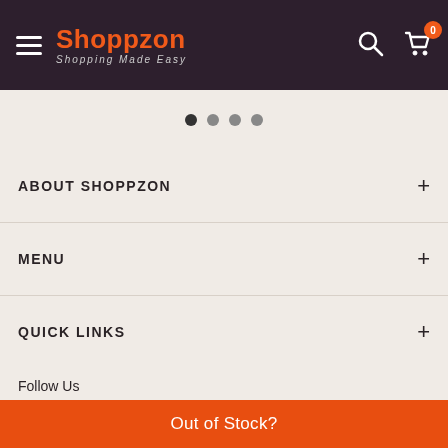Shoppzon – Shopping Made Easy
[Figure (other): Carousel dot indicators: 4 dots with first dot active (dark), rest lighter]
ABOUT SHOPPZON
MENU
QUICK LINKS
Follow Us
Out of Stock?